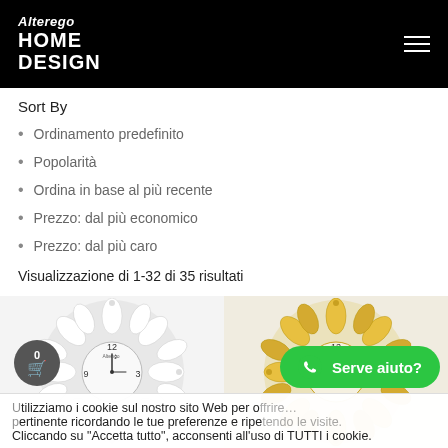Alterego HOME DESIGN
Sort By
Ordinamento predefinito
Popolarità
Ordina in base al più recente
Prezzo: dal più economico
Prezzo: dal più caro
Visualizzazione di 1-32 di 35 risultati
[Figure (photo): White flower-shaped decorative wall clock with crystal accents and clock face showing 12, 3, 9]
[Figure (photo): Gold flower-shaped decorative wall clock with crystal accents and clock face showing 12, 3, 9]
Utilizziamo i cookie sul nostro sito Web per offrirti l'esperienza più pertinente ricordando le tue preferenze e ripetendo le visite. Cliccando su "Accetta tutto", acconsenti all'uso di TUTTI i cookie.